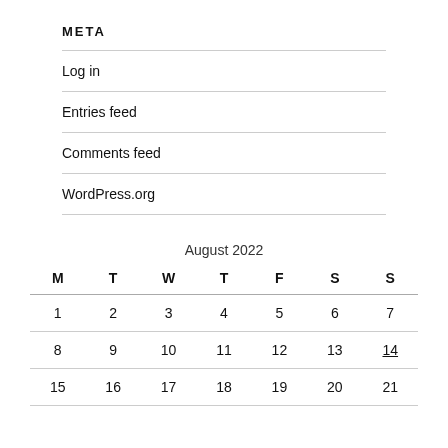META
Log in
Entries feed
Comments feed
WordPress.org
| M | T | W | T | F | S | S |
| --- | --- | --- | --- | --- | --- | --- |
| 1 | 2 | 3 | 4 | 5 | 6 | 7 |
| 8 | 9 | 10 | 11 | 12 | 13 | 14 |
| 15 | 16 | 17 | 18 | 19 | 20 | 21 |